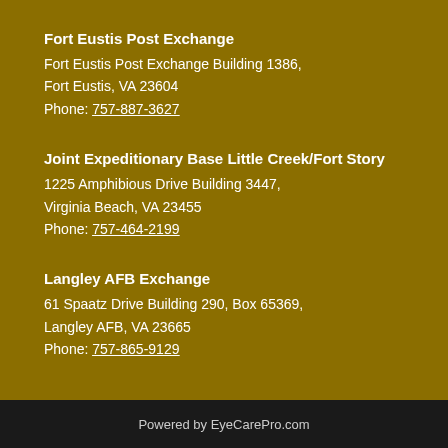Fort Eustis Post Exchange
Fort Eustis Post Exchange Building 1386,
Fort Eustis, VA 23604
Phone: 757-887-3627
Joint Expeditionary Base Little Creek/Fort Story
1225 Amphibious Drive Building 3447,
Virginia Beach, VA 23455
Phone: 757-464-2199
Langley AFB Exchange
61 Spaatz Drive Building 290, Box 65369,
Langley AFB, VA 23665
Phone: 757-865-9129
Powered by EyeCarePro.com